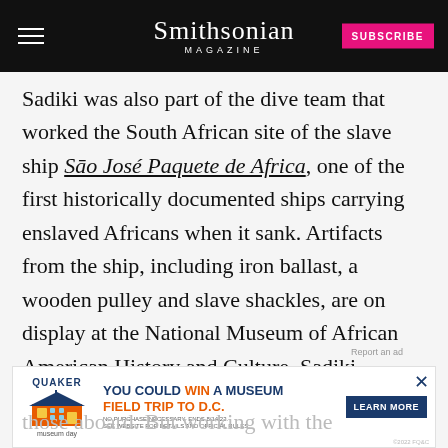Smithsonian MAGAZINE
Sadiki was also part of the dive team that worked the South African site of the slave ship Sāo José Paquete de Africa, one of the first historically documented ships carrying enslaved Africans when it sank. Artifacts from the ship, including iron ballast, a wooden pulley and slave shackles, are on display at the National Museum of African American History and Culture. Sadiki says the sounds of chains and shackles remind those aboard. But working with the Africatown
[Figure (screenshot): Advertisement banner for Quaker Museum Day promotion offering a chance to win a museum field trip to D.C. with a Learn More button.]